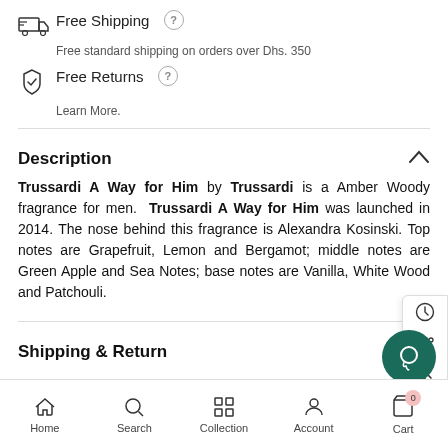Free Shipping — Free standard shipping on orders over Dhs. 350
Free Returns — Learn More.
Description
Trussardi A Way for Him by Trussardi is a Amber Woody fragrance for men. Trussardi A Way for Him was launched in 2014. The nose behind this fragrance is Alexandra Kosinski. Top notes are Grapefruit, Lemon and Bergamot; middle notes are Green Apple and Sea Notes; base notes are Vanilla, White Wood and Patchouli.
Shipping & Return
How to Use
Home   Search   Collection   Account   Cart